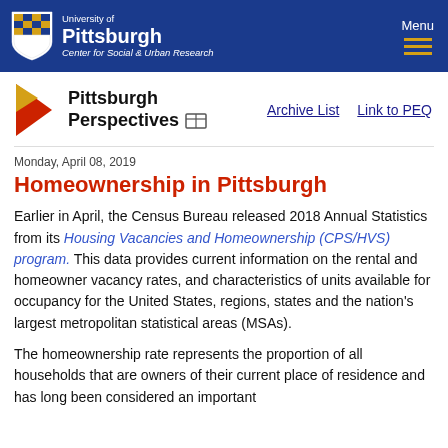University of Pittsburgh | Center for Social & Urban Research
[Figure (logo): Pittsburgh Perspectives logo with red/yellow arrow and table icon, and Archive List / Link to PEQ navigation links]
Monday, April 08, 2019
Homeownership in Pittsburgh
Earlier in April, the Census Bureau released 2018 Annual Statistics from its Housing Vacancies and Homeownership (CPS/HVS) program. This data provides current information on the rental and homeowner vacancy rates, and characteristics of units available for occupancy for the United States, regions, states and the nation's largest metropolitan statistical areas (MSAs).
The homeownership rate represents the proportion of all households that are owners of their current place of residence and has long been considered an important